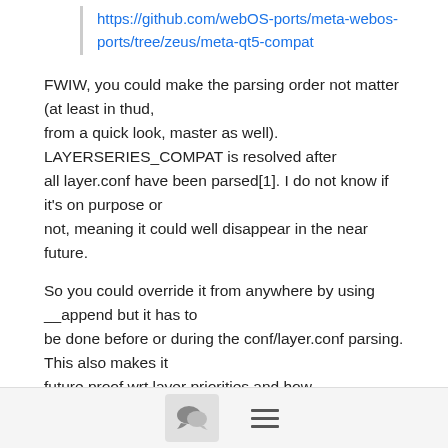https://github.com/webOS-ports/meta-webos-ports/tree/zeus/meta-qt5-compat
FWIW, you could make the parsing order not matter (at least in thud,
from a quick look, master as well).
LAYERSERIES_COMPAT is resolved after
all layer.conf have been parsed[1]. I do not know if it's on purpose or
not, meaning it could well disappear in the near future.

So you could override it from anywhere by using __append but it has to
be done before or during the conf/layer.conf parsing. This also makes it
future proof wrt layer priorities and how LAYERSERIES_COMPAT is set (+=,
=, ?= ?).
[Figure (other): Footer bar with chat bubble icon button and hamburger menu icon]